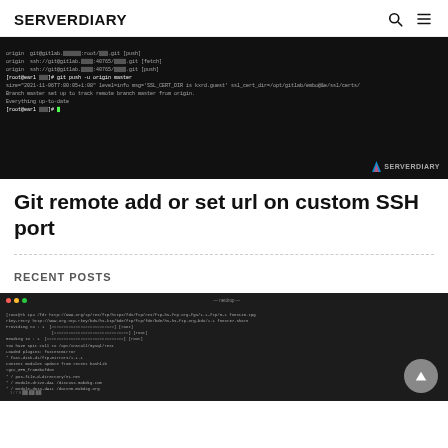SERVERDIARY
[Figure (screenshot): Terminal window on black background showing git remote add commands and git push output, with SERVERDIARY watermark in bottom right]
Git remote add or set url on custom SSH port
RECENT POSTS
[Figure (screenshot): Mac terminal window showing command line output with various package/dependency installation text]